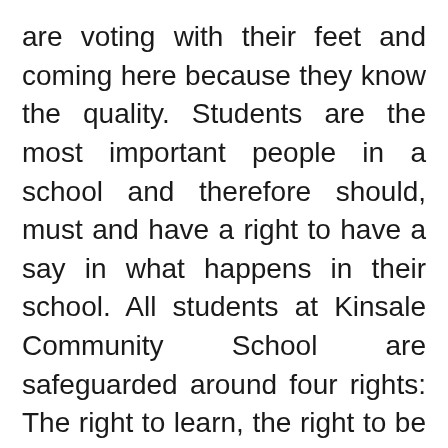are voting with their feet and coming here because they know the quality. Students are the most important people in a school and therefore should, must and have a right to have a say in what happens in their school. All students at Kinsale Community School are safeguarded around four rights: The right to learn, the right to be happy, the right to be different and the right to be heard. The lived experience of the school's mission, vision and four fundamental rights is critical and evident at an entire range of levels, including the student council, head